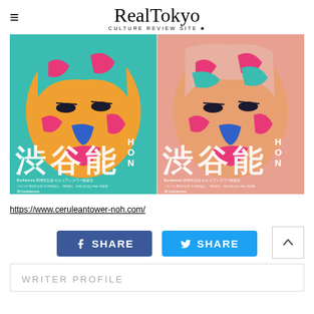RealTokyo CULTURE REVIEW SITE
[Figure (illustration): Colorful pop-art style poster showing two side-by-side versions of a stylized face (Noh theater mask style) in teal, orange, yellow, pink and blue. Text reads '渋谷能 HON' and 'Bunkamura 30周年記念 セルリアンタワー能楽堂'. Appears twice side by side.]
https://www.ceruleantower-noh.com/
[Figure (infographic): Facebook SHARE button (blue) and Twitter SHARE button (light blue) side by side]
WRITER PROFILE